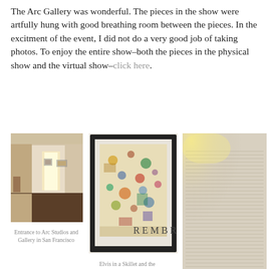The Arc Gallery was wonderful. The pieces in the show were artfully hung with good breathing room between the pieces. In the excitment of the event, I did not do a very good job of taking photos. To enjoy the entire show–both the pieces in the physical show and the virtual show–click here.
[Figure (photo): Interior of Arc Studios and Gallery showing white walls with artwork hung, dark floor, doorway with light]
Entrance to Arc Studios and Gallery in San Francisco
[Figure (photo): Framed artwork with dark frame showing a colorful busy illustration – Elvis in a Skillet and the Ongoing Movie in My Head by Deborah Mavis]
Elvis in a Skillet and the Ongoing Movie in My Head by Deborah Mavis
[Figure (photo): Close-up of a paper or artwork with dense handwritten or printed text, warm light from upper left corner]